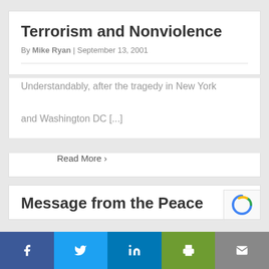Terrorism and Nonviolence
By Mike Ryan | September 13, 2001
Understandably, after the tragedy in New York and Washington DC [...]
Read More >
Message from the Peace
[Figure (infographic): Social sharing bar with Facebook, Twitter, LinkedIn, Print, and Email buttons]